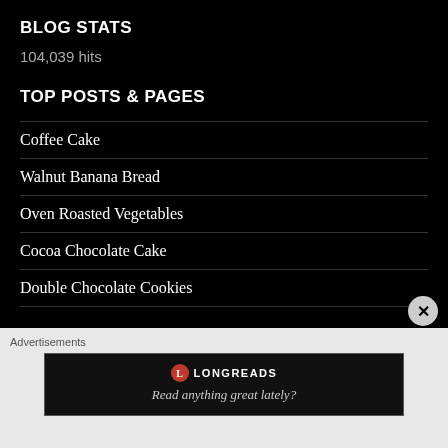BLOG STATS
104,039 hits
TOP POSTS & PAGES
Coffee Cake
Walnut Banana Bread
Oven Roasted Vegetables
Cocoa Chocolate Cake
Double Chocolate Cookies
Advertisements
[Figure (screenshot): Longreads advertisement banner with logo and tagline 'Read anything great lately?']